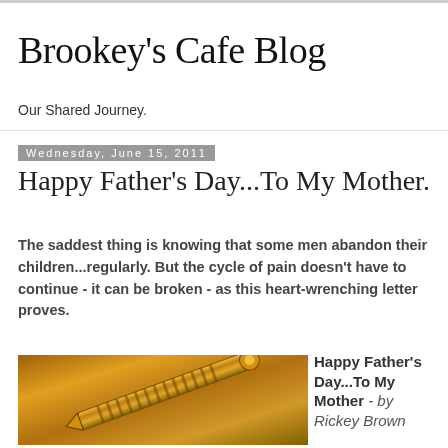Brookey's Cafe Blog
Our Shared Journey.
Wednesday, June 15, 2011
Happy Father's Day...To My Mother.
The saddest thing is knowing that some men abandon their children...regularly. But the cycle of pain doesn't have to continue - it can be broken - as this heart-wrenching letter proves.
[Figure (photo): Close-up photo of a gold/brass pen lying on a golden-toned surface]
Happy Father's Day...To My Mother - by Rickey Brown